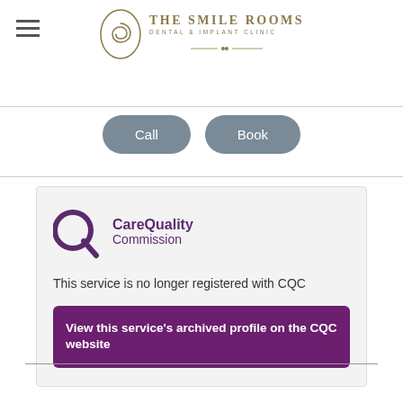[Figure (logo): The Smile Rooms Dental & Implant Clinic logo with spiral icon and decorative divider]
[Figure (other): Call and Book buttons (rounded pill-shaped, grey background)]
[Figure (logo): Care Quality Commission (CQC) logo]
This service is no longer registered with CQC
View this service's archived profile on the CQC website